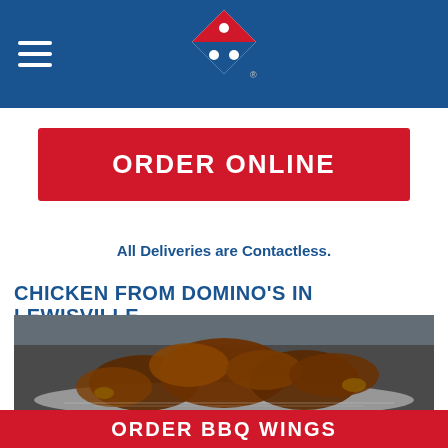Domino's Pizza — navigation header with logo
ORDER ONLINE
All Deliveries are Contactless.
CHICKEN FROM DOMINO'S IN LEWISVILLE
[Figure (photo): Photo of BBQ chicken wings piled on aluminum foil on a dark surface]
ORDER BBQ WINGS